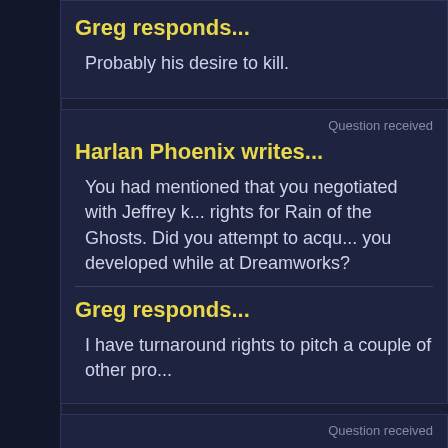Greg responds...
Probably his desire to kill.
Question received
Harlan Phoenix writes...
You had mentioned that you negotiated with Jeffrey k... rights for Rain of the Ghosts. Did you attempt to acqu... you developed while at Dreamworks?
Greg responds...
I have turnaround rights to pitch a couple of other pro...
Question received
Allison writes...
Hello, Greg! Super-excited to get my hands on Rain...